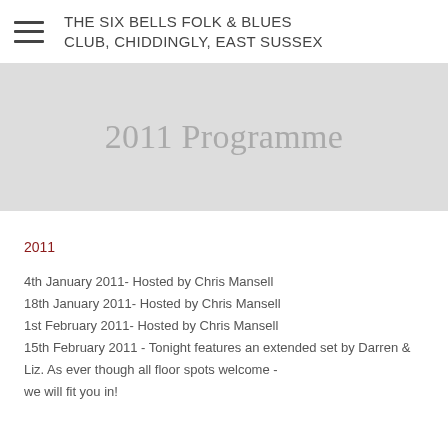THE SIX BELLS FOLK & BLUES CLUB, CHIDDINGLY, EAST SUSSEX
2011 Programme
2011
4th January 2011- Hosted by Chris Mansell
18th January 2011- Hosted by Chris Mansell
1st February 2011- Hosted by Chris Mansell
15th February 2011 - Tonight features an extended set by Darren & Liz. As ever though all floor spots welcome - we will fit you in!